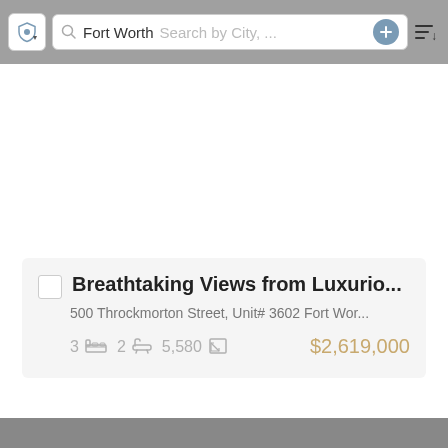[Figure (screenshot): Mobile app top toolbar with shield/filter button, search bar showing 'Fort Worth' and 'Search by City, ...' placeholder, a plus button, and a sort icon]
Breathtaking Views from Luxurio...
500 Throckmorton Street, Unit# 3602 Fort Wor...
3  2  5,580  $2,619,000